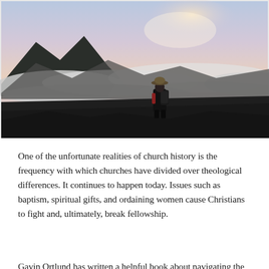[Figure (photo): A person with a wide-brimmed hat and backpack stands on a high viewpoint overlooking a dramatic mountain landscape filled with clouds and mist. The sky above shows soft pink and blue hues of dawn or dusk.]
One of the unfortunate realities of church history is the frequency with which churches have divided over theological differences. It continues to happen today. Issues such as baptism, spiritual gifts, and ordaining women cause Christians to fight and, ultimately, break fellowship.
Gavin Ortlund has written a helpful book about navigating the